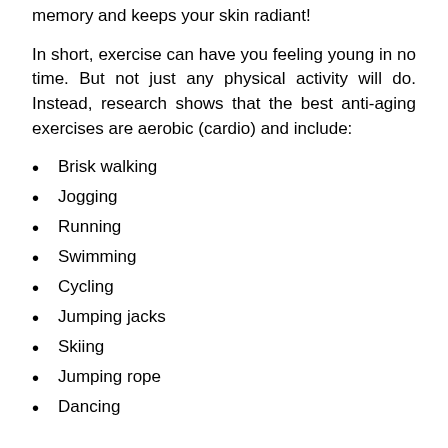memory and keeps your skin radiant!
In short, exercise can have you feeling young in no time. But not just any physical activity will do. Instead, research shows that the best anti-aging exercises are aerobic (cardio) and include:
Brisk walking
Jogging
Running
Swimming
Cycling
Jumping jacks
Skiing
Jumping rope
Dancing